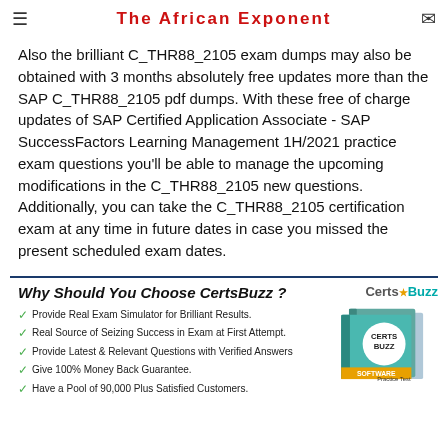The African Exponent
Also the brilliant C_THR88_2105 exam dumps may also be obtained with 3 months absolutely free updates more than the SAP C_THR88_2105 pdf dumps. With these free of charge updates of SAP Certified Application Associate - SAP SuccessFactors Learning Management 1H/2021 practice exam questions you'll be able to manage the upcoming modifications in the C_THR88_2105 new questions. Additionally, you can take the C_THR88_2105 certification exam at any time in future dates in case you missed the present scheduled exam dates.
Why Should You Choose CertsBuzz ?
Provide Real Exam Simulator for Brilliant Results.
Real Source of Seizing Success in Exam at First Attempt.
Provide Latest & Relevant Questions with Verified Answers
Give 100% Money Back Guarantee.
Have a Pool of 90,000 Plus Satisfied Customers.
[Figure (logo): CertsBuzz logo and product box image showing CERTS BUZZ SOFTWARE Practice Test]